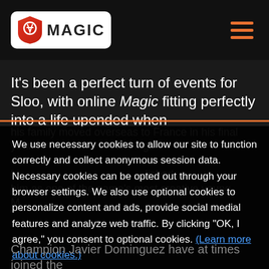Magic: The Gathering logo and navigation header
It's been a perfect turn of events for Sloo, with online Magic fitting perfectly into a life upended when his family moved overseas to France in his final year of...touring...and...established him as one of the game's most creative young...The rest of the Magic world has taken notice. What...has emerged as one of the preeminent testing...Champion Javier Dominguez have at times joined the
We use necessary cookies to allow our site to function correctly and collect anonymous session data. Necessary cookies can be opted out through your browser settings. We also use optional cookies to personalize content and ads, provide social medial features and analyze web traffic. By clicking "OK, I agree," you consent to optional cookies. (Learn more about cookies.)
OK, I agree
No, thanks